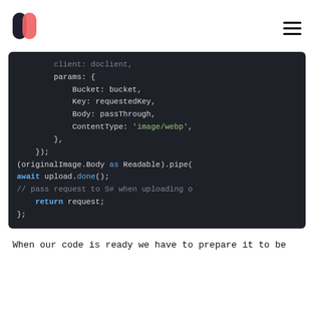[Figure (logo): M-shaped logo with dark navy and coral/red colors]
[Figure (screenshot): Code block showing JavaScript/Node.js code with dark background. Code shows params object with Bucket, Key, Body, ContentType fields, upload and pipe operations, and return statement.]
When our code is ready we have to prepare it to be